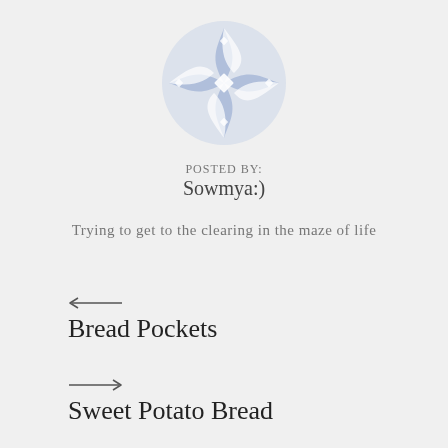[Figure (logo): Circular decorative logo with blue/periwinkle geometric star/pinwheel pattern on light background]
POSTED BY:
Sowmya:)
Trying to get to the clearing in the maze of life
← Bread Pockets
→ Sweet Potato Bread